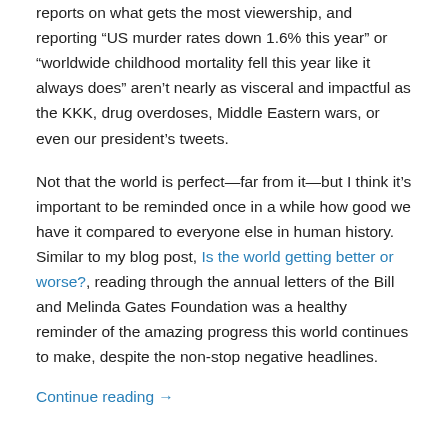reports on what gets the most viewership, and reporting “US murder rates down 1.6% this year” or “worldwide childhood mortality fell this year like it always does” aren’t nearly as visceral and impactful as the KKK, drug overdoses, Middle Eastern wars, or even our president’s tweets.
Not that the world is perfect—far from it—but I think it’s important to be reminded once in a while how good we have it compared to everyone else in human history. Similar to my blog post, Is the world getting better or worse?, reading through the annual letters of the Bill and Melinda Gates Foundation was a healthy reminder of the amazing progress this world continues to make, despite the non-stop negative headlines.
Continue reading →